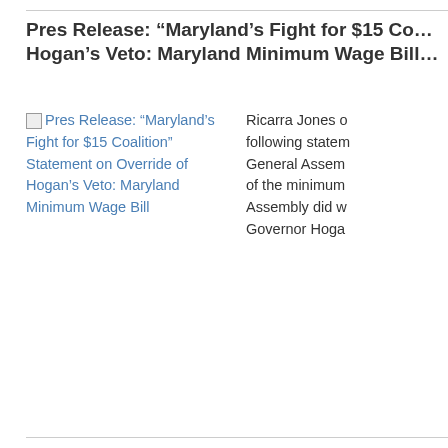Pres Release: “Maryland’s Fight for $15 Coalition” Statement on Override of Hogan’s Veto: Maryland Minimum Wage Bill
[Figure (other): Broken image placeholder link for press release article thumbnail]
Ricarra Jones of following statement General Assembly of the minimum Assembly did w Governor Hoga